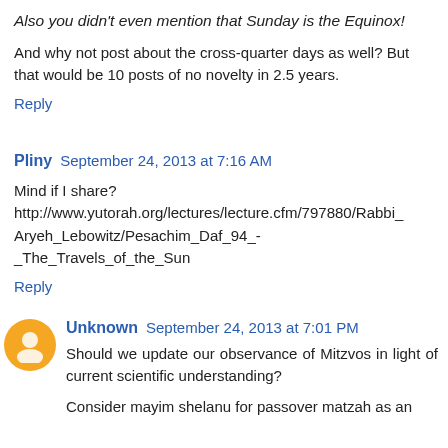Also you didn't even mention that Sunday is the Equinox!
And why not post about the cross-quarter days as well? But that would be 10 posts of no novelty in 2.5 years.
Reply
Pliny   September 24, 2013 at 7:16 AM
Mind if I share? http://www.yutorah.org/lectures/lecture.cfm/797880/Rabbi_Aryeh_Lebowitz/Pesachim_Daf_94_-_The_Travels_of_the_Sun
Reply
Unknown   September 24, 2013 at 7:01 PM
Should we update our observance of Mitzvos in light of current scientific understanding?
Consider mayim shelanu for passover matzah as an